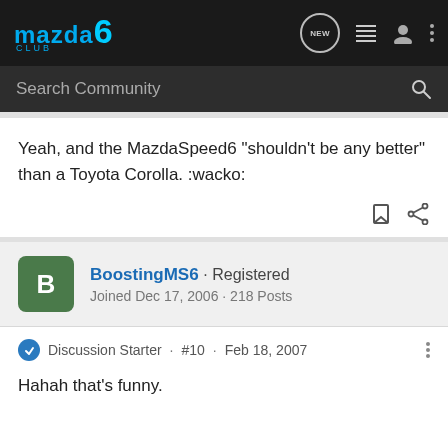Mazda6 Club — navigation bar with logo, search, and icons
Yeah, and the MazdaSpeed6 "shouldn't be any better" than a Toyota Corolla. :wacko:
BoostingMS6 · Registered
Joined Dec 17, 2006 · 218 Posts
Discussion Starter · #10 · Feb 18, 2007
Hahah that's funny.